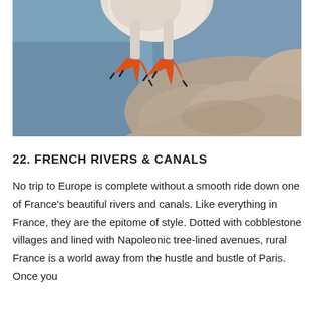[Figure (photo): Close-up photograph of a bird's orange webbed feet standing on a rocky surface, with a blurred blue water background visible. The bird's white/grey feathered body is partially visible at the top of the frame.]
22. FRENCH RIVERS & CANALS
No trip to Europe is complete without a smooth ride down one of France's beautiful rivers and canals. Like everything in France, they are the epitome of style. Dotted with cobblestone villages and lined with Napoleonic tree-lined avenues, rural France is a world away from the hustle and bustle of Paris. Once you embark on your first river boat trip, it will be hard to